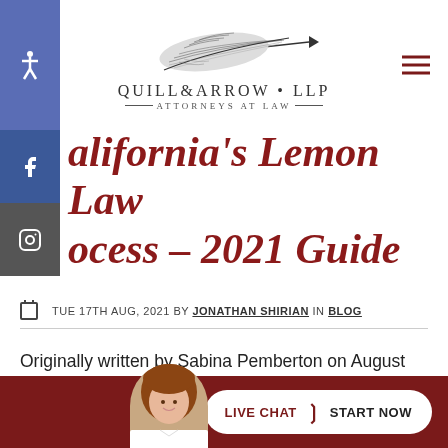[Figure (logo): Quill & Arrow LLP Attorneys at Law logo with feather and arrow illustration]
California's Lemon Law Process – 2021 Guide
TUE 17TH AUG, 2021 BY JONATHAN SHIRIAN IN BLOG
Originally written by Sabina Pemberton on August 17, 2021 Manufacturers no longer produce long-lived cars – the p...able...tened
[Figure (infographic): Live Chat – Start Now button with female avatar]